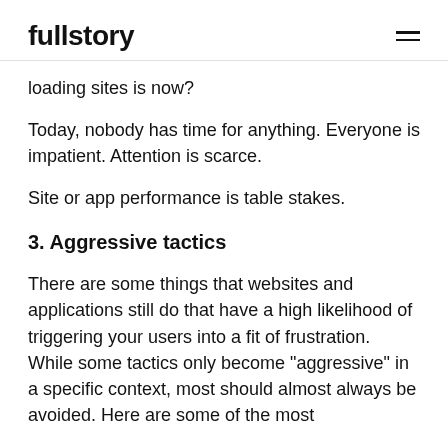fullstory
loading sites is now?
Today, nobody has time for anything. Everyone is impatient. Attention is scarce.
Site or app performance is table stakes.
3. Aggressive tactics
There are some things that websites and applications still do that have a high likelihood of triggering your users into a fit of frustration. While some tactics only become "aggressive" in a specific context, most should almost always be avoided. Here are some of the most